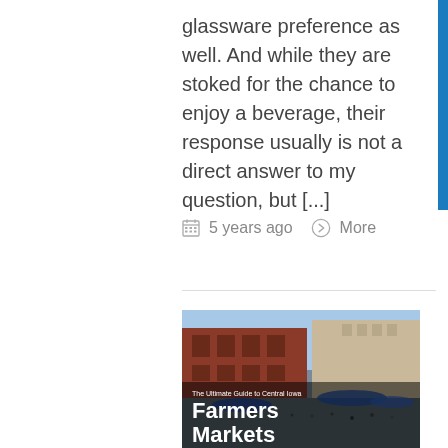glassware preference as well. And while they are stoked for the chance to enjoy a beverage, their response usually is not a direct answer to my question, but [...]
5 years ago   More
[Figure (photo): Outdoor farmers market scene with crowds and blue tents in a downtown area. Overlaid text reads 'The Ultimate Guide to Central Iowa Farmers Markets'.]